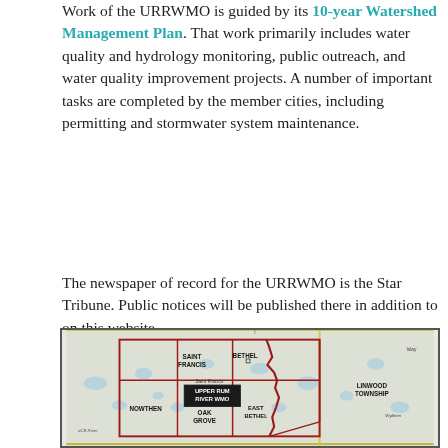Work of the URRWMO is guided by its 10-year Watershed Management Plan. That work primarily includes water quality and hydrology monitoring, public outreach, and water quality improvement projects. A number of important tasks are completed by the member cities, including permitting and stormwater system maintenance.
The newspaper of record for the URRWMO is the Star Tribune. Public notices will be published there in addition to on this website
[Figure (map): A geographic map showing the Upper Rum River WMO watershed area, including the cities/townships of Saint Francis, Bethel, Nowthen, Oak Grove, East Bethel, and Linwood Township, with red boundary lines outlining the watershed management organization area.]